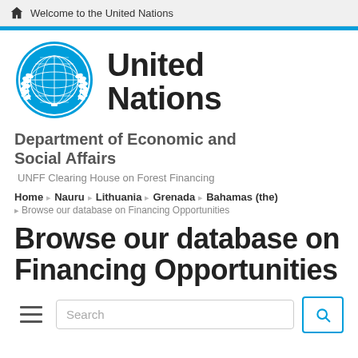Welcome to the United Nations
[Figure (logo): United Nations emblem logo in blue]
United Nations
Department of Economic and Social Affairs
UNFF Clearing House on Forest Financing
Home › Nauru › Lithuania › Grenada › Bahamas (the)
Browse our database on Financing Opportunities
Browse our database on Financing Opportunities